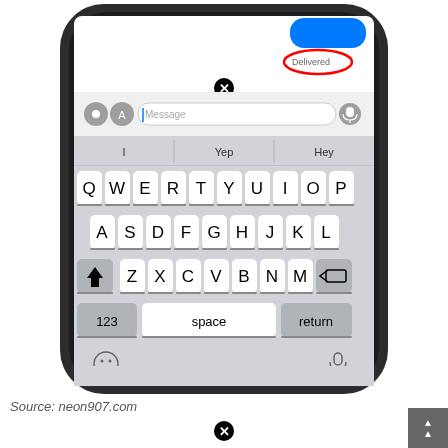[Figure (screenshot): iPhone screen showing iMessage app with keyboard open, blue sent bubble visible, 'Delivered' status circled in red, suggestions bar showing 'I', 'Yep', 'Hey', QWERTY keyboard layout displayed]
Source: neon907.com